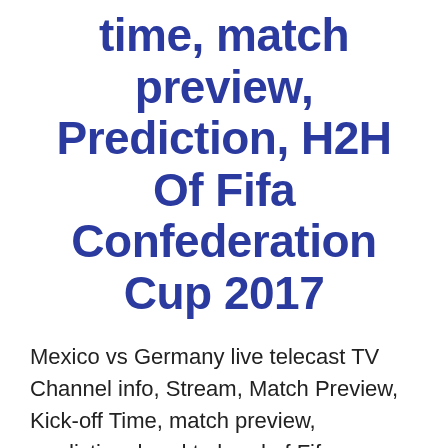time, match preview, Prediction, H2H Of Fifa Confederation Cup 2017
Mexico vs Germany live telecast TV Channel info, Stream, Match Preview, Kick-off Time, match preview, prediction, head to head of Fifa confederation cup 2017. Second semi final match will be played on date 29 june, 2017 – Thursday. The FIFA confederation cup 2017 is an international association soccer